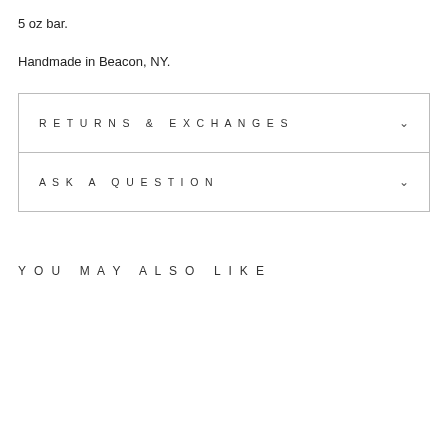5 oz bar.
Handmade in Beacon, NY.
RETURNS & EXCHANGES
ASK A QUESTION
YOU MAY ALSO LIKE